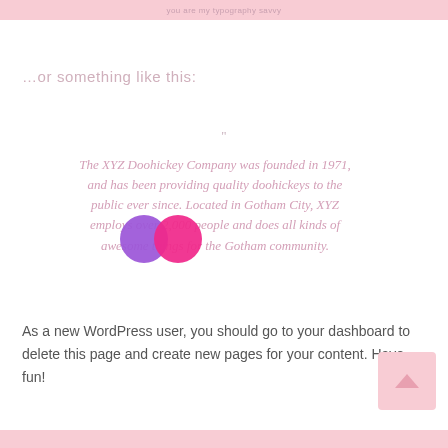you are my typography savvy
…or something like this:
"
The XYZ Doohickey Company was founded in 1971, and has been providing quality doohickeys to the public ever since. Located in Gotham City, XYZ employs over 2,000 people and does all kinds of awesome things for the Gotham community.
As a new WordPress user, you should go to your dashboard to delete this page and create new pages for your content. Have fun!